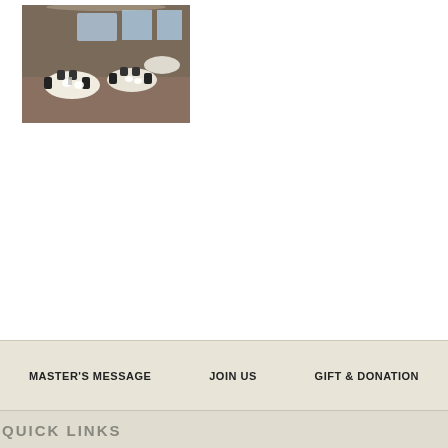[Figure (photo): A banquet room with round tables set with white tablecloths, chairs, and place settings. Dark chairs and white linens visible, with windows in background.]
MASTER'S MESSAGE   JOIN US   GIFT & DONATION
QUICK LINKS